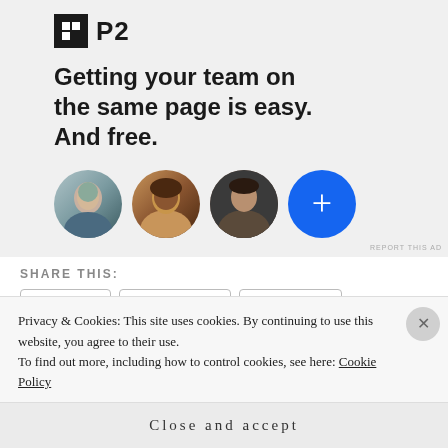[Figure (advertisement): P2 advertisement banner with logo, headline 'Getting your team on the same page is easy. And free.' and three avatar circles plus a blue plus button]
REPORT THIS AD
SHARE THIS:
Twitter Facebook LinkedIn Pinterest
Privacy & Cookies: This site uses cookies. By continuing to use this website, you agree to their use.
To find out more, including how to control cookies, see here: Cookie Policy
Close and accept